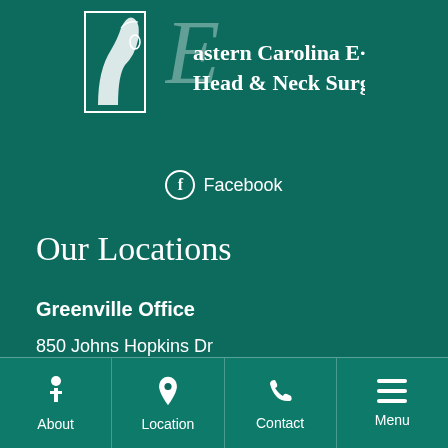[Figure (logo): Eastern Carolina ENT Head & Neck Surgery logo with stylized face profile outline and decorative E letter]
Facebook
Our Locations
Greenville Office
850 Johns Hopkins Dr
Greenville, NC 27834
Phone: 252-752-5227
About | Location | Contact | Menu